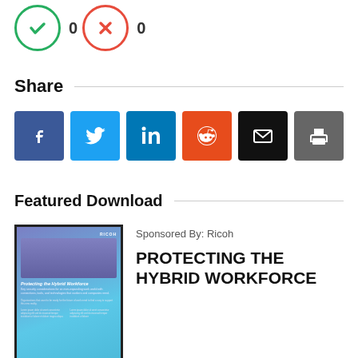[Figure (illustration): Two circular icon badges: a green checkmark badge with count 0, and a red X badge with count 0]
Share
[Figure (infographic): Row of six social sharing buttons: Facebook (blue), Twitter (light blue), LinkedIn (dark blue), Reddit (orange-red), Email (black), Print (grey)]
Featured Download
[Figure (illustration): Thumbnail cover of 'Protecting the Hybrid Workforce' document by Ricoh, with blue/purple gradient background and document text]
Sponsored By: Ricoh
PROTECTING THE HYBRID WORKFORCE